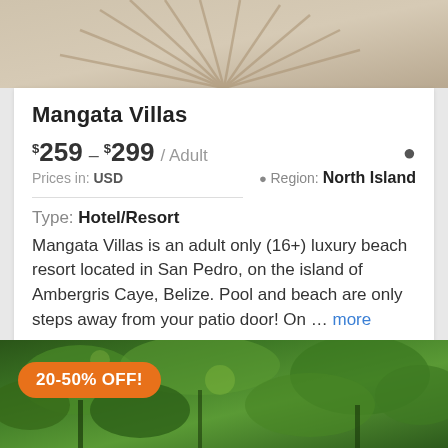[Figure (photo): Top photo showing sandy beach with palm tree shadows on the sand]
Mangata Villas
$259 – $299 / Adult
Region: North Island
Prices in: USD
Type: Hotel/Resort
Mangata Villas is an adult only (16+) luxury beach resort located in San Pedro, on the island of Ambergris Caye, Belize. Pool and beach are only steps away from your patio door! On … more
[Figure (photo): Bottom photo showing lush green tropical jungle/forest with trees. An orange badge reads '20-50% OFF!']